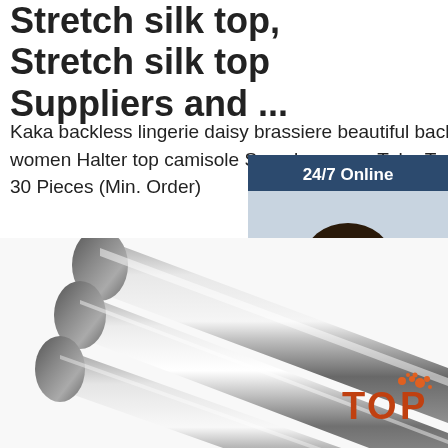Stretch silk top, Stretch silk top Suppliers and ...
Kaka backless lingerie daisy brassiere beautiful back to wrap the chest women Halter top camisole Seamless saxy Tube Top vest US $1.09-Piece 30 Pieces (Min. Order)
Get Price
[Figure (screenshot): 24/7 Online chat widget with a female operator wearing a headset, with 'Click here for free chat!' text and an orange QUOTATION button]
[Figure (photo): Shiny chrome/steel cylindrical metal rods photographed diagonally]
[Figure (logo): TOP logo with orange dots in bottom right corner]